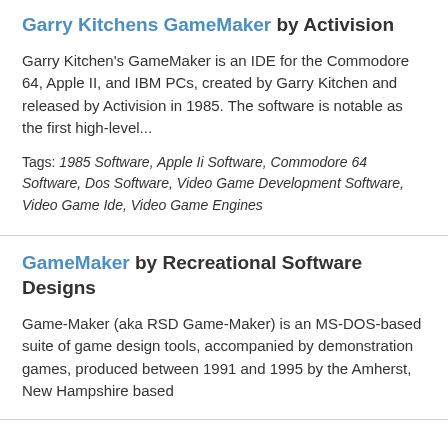Garry Kitchens GameMaker by Activision
Garry Kitchen's GameMaker is an IDE for the Commodore 64, Apple II, and IBM PCs, created by Garry Kitchen and released by Activision in 1985. The software is notable as the first high-level...
Tags: 1985 Software, Apple Ii Software, Commodore 64 Software, Dos Software, Video Game Development Software, Video Game Ide, Video Game Engines
GameMaker by Recreational Software Designs
Game-Maker (aka RSD Game-Maker) is an MS-DOS-based suite of game design tools, accompanied by demonstration games, produced between 1991 and 1995 by the Amherst, New Hampshire based